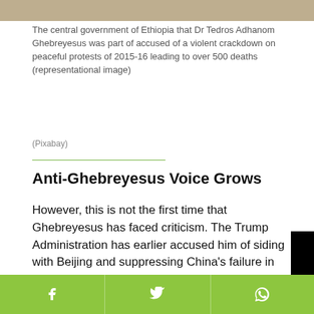[Figure (photo): Top portion of an image, sandy/brownish texture, partially visible]
The central government of Ethiopia that Dr Tedros Adhanom Ghebreyesus was part of accused of a violent crackdown on peaceful protests of 2015-16 leading to over 500 deaths (representational image)
(Pixabay)
Anti-Ghebreyesus Voice Grows
However, this is not the first time that Ghebreyesus has faced criticism. The Trump Administration has earlier accused him of siding with Beijing and suppressing China’s failure in handling of the Coronavirus that has led to over 1.5 million de… to the nation-wide lockd…
Recently, Ethiopia’s arm…
[Figure (screenshot): Black video player overlay with red play button icon and loading spinner]
[Figure (infographic): Green social share bar at bottom with Facebook, Twitter, and WhatsApp icons]